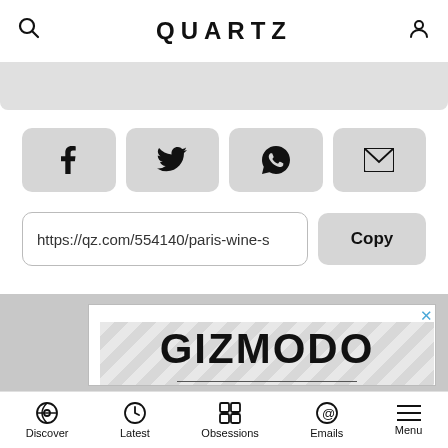QUARTZ
[Figure (screenshot): Share buttons row with Facebook, Twitter, WhatsApp, and Email icons on grey rounded rectangle buttons]
https://qz.com/554140/paris-wine-s
Copy
[Figure (screenshot): Advertisement banner for Gizmodo with diagonal striped background and bold GIZMODO text]
Discover  Latest  Obsessions  Emails  Menu